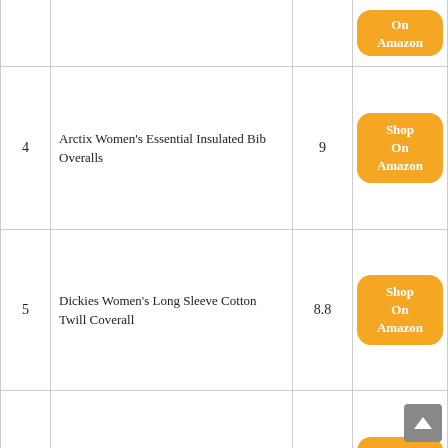| # | Product | Score | Link |
| --- | --- | --- | --- |
|  |  |  | On Amazon |
| 4 | Arctix Women's Essential Insulated Bib Overalls | 9 | Shop On Amazon |
| 5 | Dickies Women's Long Sleeve Cotton Twill Coverall | 8.8 | Shop On Amazon |
| 6 | Bulwark FR Men's Flame Resistant 9 oz Twill Cotton Classic Coverall with Hemmed Sleeves | 8.8 | Shop On Amazon |
| 7 | Carhartt Petite Flame Resistant Womens Rugged Flex Twill Coverall | 8.8 | Shop On Amazon |
See Also:
Plus Size Shapewear Bodysuit
Bowl For Baby Girls
Golf Grip For Kids